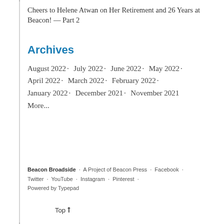Cheers to Helene Atwan on Her Retirement and 26 Years at Beacon! — Part 2
Archives
August 2022 · July 2022 · June 2022 · May 2022 · April 2022 · March 2022 · February 2022 · January 2022 · December 2021 · November 2021 More...
Beacon Broadside · A Project of Beacon Press · Facebook · Twitter · YouTube · Instagram · Pinterest · Powered by Typepad
Top⬆